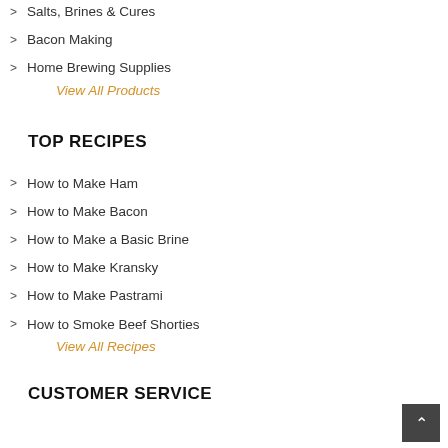Salts, Brines & Cures
Bacon Making
Home Brewing Supplies
View All Products
TOP RECIPES
How to Make Ham
How to Make Bacon
How to Make a Basic Brine
How to Make Kransky
How to Make Pastrami
How to Smoke Beef Shorties
View All Recipes
CUSTOMER SERVICE